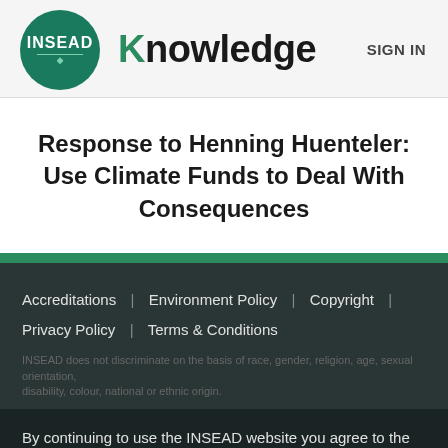[Figure (logo): INSEAD Knowledge logo with circular green INSEAD icon and bold Knowledge text]
Response to Henning Huenteler: Use Climate Funds to Deal With Consequences
Accreditations | Environment Policy | Copyright | Privacy Policy | Terms & Conditions
INSEAD does not discriminate on the basis of race, gender, religion, age, sexual orientation, disability, colour, national or ethnic origin.
By continuing to use the INSEAD website you agree to the use of cookies in accordance with our cookie policy | Manage cookies.